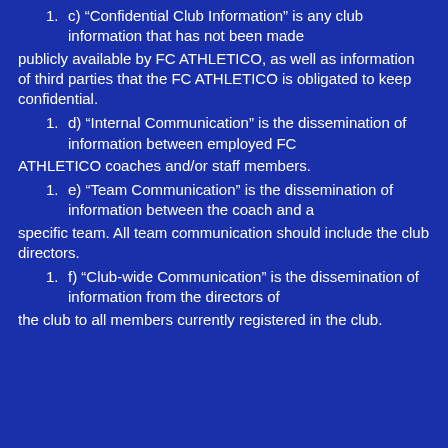1. c) “Confidential Club Information” is any club information that has not been made
publicly available by FC ATHLETICO, as well as information of third parties that the FC ATHLETICO is obligated to keep confidential.
1. d) “Internal Communication” is the dissemination of information between employed FC
ATHLETICO coaches and/or staff members.
1. e) “Team Communication” is the dissemination of information between the coach and a
specific team. All team communication should include the club directors.
1. f) “Club-wide Communication” is the dissemination of information from the directors of
the club to all members currently registered in the club.